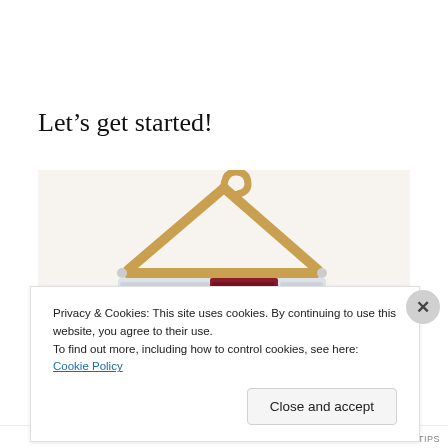Let’s get started!
[Figure (photo): A wooden clothes hanger with a white and dark red/crimson crocheted or knitted swatch hanging from it, photographed against a light background.]
Privacy & Cookies: This site uses cookies. By continuing to use this website, you agree to their use.
To find out more, including how to control cookies, see here: Cookie Policy
Close and accept